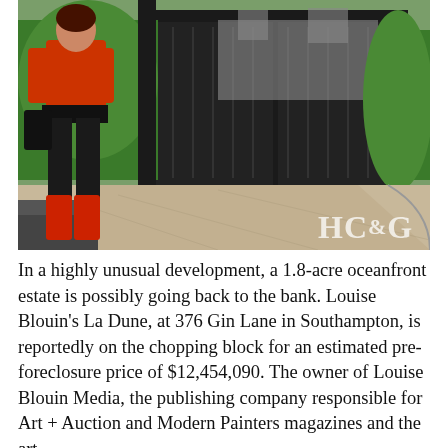[Figure (photo): A woman in orange/red outfit with black pants and red boots standing in front of a large dark gate and gravel driveway leading to a mansion surrounded by green hedges. HC&G watermark visible in lower right corner.]
In a highly unusual development, a 1.8-acre oceanfront estate is possibly going back to the bank. Louise Blouin's La Dune, at 376 Gin Lane in Southampton, is reportedly on the chopping block for an estimated pre-foreclosure price of $12,454,090. The owner of Louise Blouin Media, the publishing company responsible for Art + Auction and Modern Painters magazines and the art